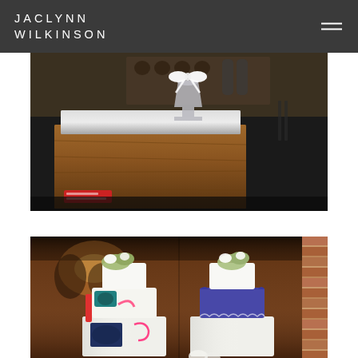JACLYNN WILKINSON
[Figure (photo): Close-up photograph of a wooden cigar box on a dark table with a silver tray on top, a cocktail glass with a white ribbon bow, and wine bottles visible in the background]
[Figure (photo): Photograph of two wedding cakes side by side. Left cake has colorful artistic decorations with flowers on top. Right cake has blue/navy middle tier with white tiers and floral topper. Brick wall visible on right side of image.]